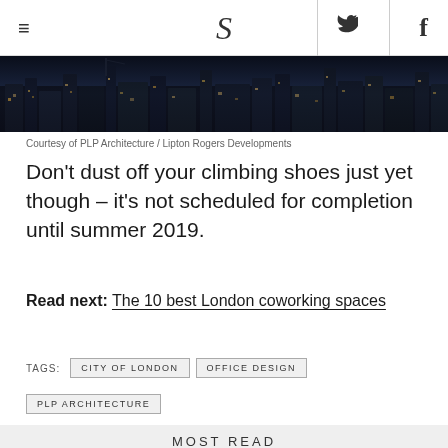≡  S  🐦  f
[Figure (photo): Aerial night view of London cityscape with illuminated skyscrapers]
Courtesy of PLP Architecture / Lipton Rogers Developments
Don't dust off your climbing shoes just yet though – it's not scheduled for completion until summer 2019.
Read next: The 10 best London coworking spaces
TAGS:  CITY OF LONDON  OFFICE DESIGN  PLP ARCHITECTURE
MOST READ